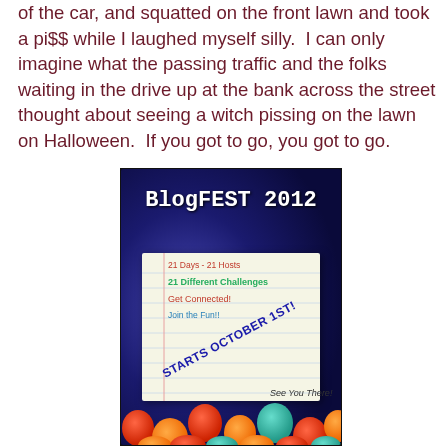of the car, and squatted on the front lawn and took a pi$$ while I laughed myself silly.  I can only imagine what the passing traffic and the folks waiting in the drive up at the bank across the street thought about seeing a witch pissing on the lawn on Halloween.  If you got to go, you got to go.
[Figure (illustration): BlogFEST 2012 promotional banner/flyer with dark blue background, white bold title text 'BlogFEST 2012', a notebook page with text listing '21 Days - 21 Hosts', '21 Different Challenges', 'Get Connected!', 'Join the Fun!', diagonal text 'STARTS OCTOBER 1ST!', 'See You There!', and colorful balloons (red, orange, teal) at the bottom.]